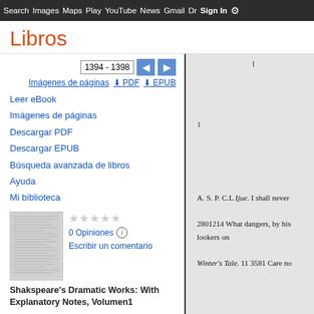Search  Images  Maps  Play  YouTube  News  Gmail  Drive  More  Sign in  Settings
Libros
1394 - 1398
Imágenes de páginas   PDF   EPUB
Leer eBook
Imágenes de páginas
Descargar PDF
Descargar EPUB
Búsqueda avanzada de libros
Ayuda
Mi biblioteca
0 Opiniones
Escribir un comentario
Shakspeare's Dramatic Works: With Explanatory Notes, Volumen1
[Figure (screenshot): A page from a book showing page number 1 at top, text 'A. S. P. C.L Ijue. I shall never', '2801214 What dangers, by his', 'lookers on', and 'Winter's Tale. 11 3581 Care no'.]